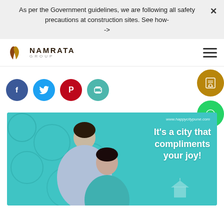As per the Government guidelines, we are following all safety precautions at construction sites. See how- ->
[Figure (logo): Namrata Group logo with stylized leaf/flame icon in brown/gold and text NAMRATA GROUP]
[Figure (infographic): Social share buttons row: Facebook (blue circle with f), Twitter (blue circle with bird), Pinterest (red circle with P), Print (teal circle with printer icon). Right side floating buttons: contact/document icon (dark gold circle), WhatsApp icon (green circle).]
[Figure (photo): Happy City Pune advertisement with teal background showing smiling couple (man in blue shirt and woman in teal). Text reads: www.happycitypune.com and It's a city that compliments your joy! with building icon.]